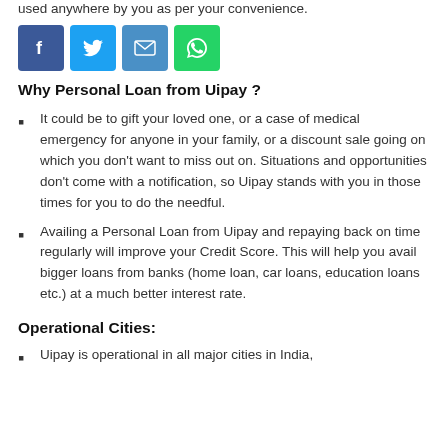used anywhere by you as per your convenience.
[Figure (other): Social sharing icons: Facebook (blue), Twitter (light blue), Email (dark blue), WhatsApp (green)]
Why Personal Loan from Uipay ?
It could be to gift your loved one, or a case of medical emergency for anyone in your family, or a discount sale going on which you don't want to miss out on. Situations and opportunities don't come with a notification, so Uipay stands with you in those times for you to do the needful.
Availing a Personal Loan from Uipay and repaying back on time regularly will improve your Credit Score. This will help you avail bigger loans from banks (home loan, car loans, education loans etc.) at a much better interest rate.
Operational Cities:
Uipay is operational in all major cities in India,